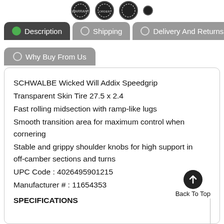[Figure (illustration): Three circular badge/seal icons at the top of the page]
Description (active tab)
Shipping
Delivery And Returns
Why Buy From Us
SCHWALBE Wicked Will Addix Speedgrip Transparent Skin Tire 27.5 x 2.4
Fast rolling midsection with ramp-like lugs
Smooth transition area for maximum control when cornering
Stable and grippy shoulder knobs for high support in off-camber sections and turns
UPC Code : 4026495901215
Manufacturer # : 11654353
SPECIFICATIONS